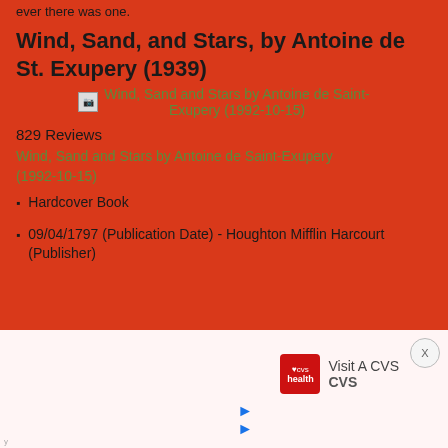ever there was one.
Wind, Sand, and Stars, by Antoine de St. Exupery (1939)
[Figure (other): Broken image placeholder for Wind, Sand and Stars by Antoine de Saint-Exupery (1992-10-15)]
829 Reviews
Wind, Sand and Stars by Antoine de Saint-Exupery (1992-10-15)
Hardcover Book
09/04/1797 (Publication Date) - Houghton Mifflin Harcourt (Publisher)
[Figure (other): Advertisement: Visit A CVS - CVS pharmacy promotional ad with logo]